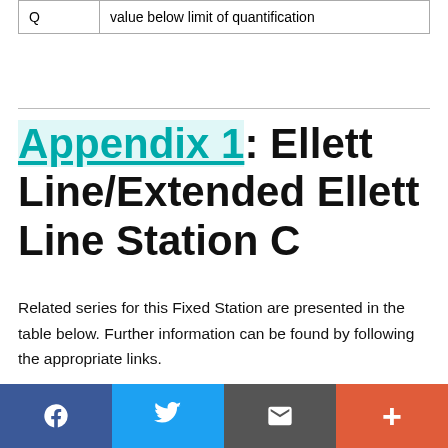| Q | value below limit of quantification |
Appendix 1: Ellett Line/Extended Ellett Line Station C
Related series for this Fixed Station are presented in the table below. Further information can be found by following the appropriate links.
If you are interested in these series, please be aware we offer a multiple file download service. Should your credentials be
Facebook | Twitter | Email | +